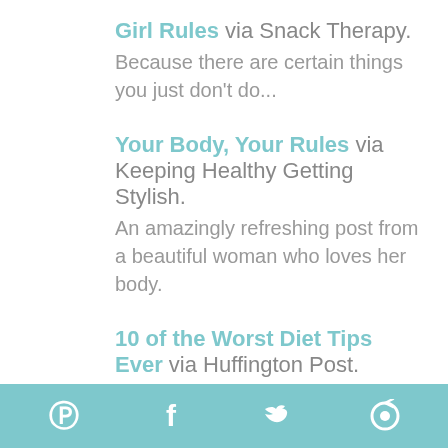Girl Rules via Snack Therapy. Because there are certain things you just don't do...
Your Body, Your Rules via Keeping Healthy Getting Stylish. An amazingly refreshing post from a beautiful woman who loves her body.
10 of the Worst Diet Tips Ever via Huffington Post. Music to my ears – some common diet myths
Pinterest Facebook Twitter Other